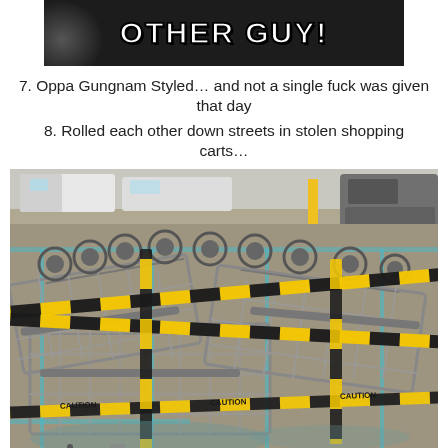[Figure (photo): Top portion of a meme image showing text 'OTHER GUY!' in white bold Impact font on a dark background with a partial face visible]
7. Oppa Gungnam Styled… and not a single fuck was given that day
8. Rolled each other down streets in stolen shopping carts…
[Figure (photo): Photo of multiple shopping carts piled upside down in a parking lot, wrapped in yellow and black caution tape, with cars visible in the background. Watermark reads Therelfixedit.com]